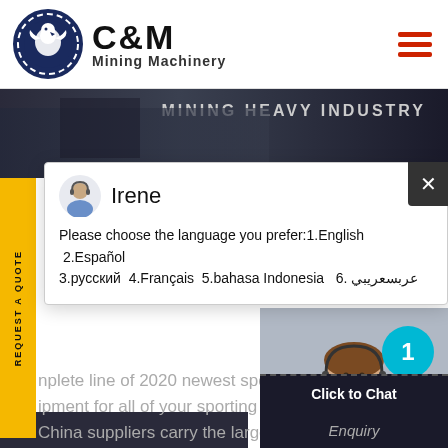[Figure (logo): C&M Mining Machinery logo with eagle/gear icon in dark blue circle, brand name C&M in bold black, Mining Machinery subtitle]
[Figure (photo): Dark industrial/mining machinery hero banner strip with text MINING HEAVY INDUSTRY]
[Figure (screenshot): Chat popup window with avatar of Irene, language selection prompt, and agent photo with Click to Chat button]
nplete line of 2020 newest spor ipment for all of your sporting b China suppliers carry the large lity sporting goods, hunting, fish equipment for sale.
[Figure (photo): Customer service agent wearing headset, with teal badge showing number 1, Click to Chat bar, and Enquiry label]